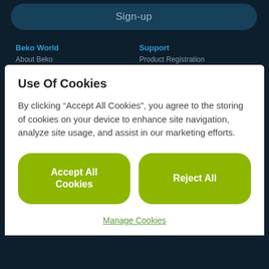[Figure (screenshot): Dark navy website background with Sign-up button and navigation links for Beko World and Support sections]
Sign-up
Beko World
Support
About Beko
Product Registration
Use Of Cookies
By clicking “Accept All Cookies”, you agree to the storing of cookies on your device to enhance site navigation, analyze site usage, and assist in our marketing efforts.
Accept All Cookies
Reject All
Manage Cookies